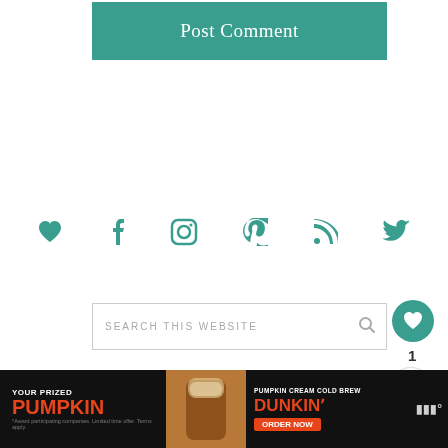Post Comment
[Figure (infographic): Row of 6 social media icons in teal: heart (Bloglovin), Facebook, Instagram, Pinterest, RSS feed, Twitter]
SEARCH THIS WEBSITE
[Figure (infographic): Teal circular button with white heart icon]
1
[Figure (infographic): White circular share button with share icon]
Sign up for email updates!
WHAT'S NEXT → No-Bake Pumpkin...
* indicates required
[Figure (infographic): Advertisement banner: YOUR PRIZED PUMPKIN - Dunkin' Pumpkin Cream Cold Brew, ORDER NOW]